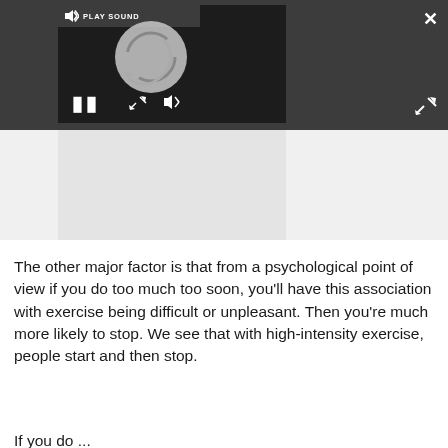[Figure (screenshot): Video player interface with dark background showing a loading/spinner circle animation, pause button (||), sound/mute icon, PLAY SOUND label, close (X) button and expand arrows button.]
The other major factor is that from a psychological point of view if you do too much too soon, you'll have this association with exercise being difficult or unpleasant. Then you're much more likely to stop. We see that with high-intensity exercise, people start and then stop.
If you do ...